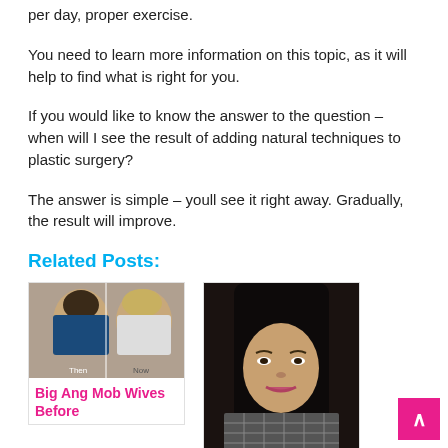per day, proper exercise.
You need to learn more information on this topic, as it will help to find what is right for you.
If you would like to know the answer to the question – when will I see the result of adding natural techniques to plastic surgery?
The answer is simple – youll see it right away. Gradually, the result will improve.
Related Posts:
[Figure (photo): Before and after photos labeled 'Then' and 'Now' of Big Ang Mob Wives]
Big Ang Mob Wives Before
[Figure (photo): Woman with long black hair and bangs wearing a patterned jacket]